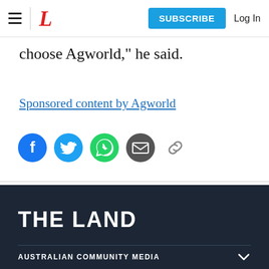THE LAND — SUBSCRIBE   Log In
choose Agworld," he said.
Sponsored content by Agworld
[Figure (infographic): Social share icons: Facebook, Twitter, WhatsApp, Email, and a copy-link icon]
THE LAND
AUSTRALIAN COMMUNITY MEDIA